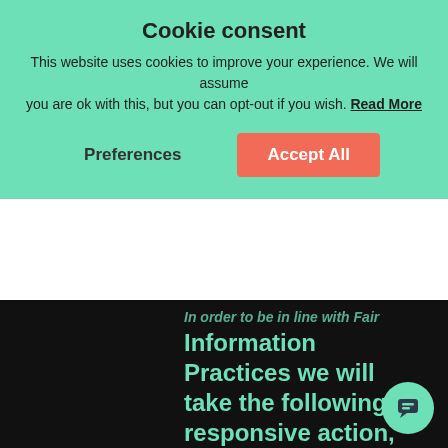Cookie consent
This website uses cookies to improve your experience. We will assume you are ok with this, but you can opt-out if you wish. Read More
Preferences
Accept All
In order to be in line with Fair Information Practices we will take the following responsive action, should a data breach occur:
We will notify via email:
- Within 7 business days
We also agree to the Individual Redress Principle which requires that individuals have the right to legally pursue enforceable rights against data collectors and processors who fail to adhere to the law. This not only means that individuals must...